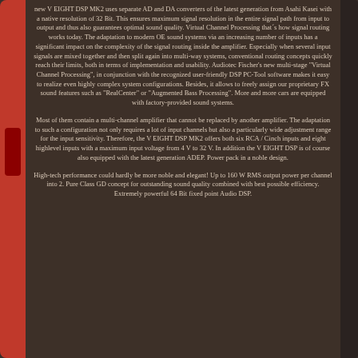new V EIGHT DSP MK2 uses separate AD and DA converters of the latest generation from Asahi Kasei with a native resolution of 32 Bit. This ensures maximum signal resolution in the entire signal path from input to output and thus also guarantees optimal sound quality. Virtual Channel Processing that´s how signal routing works today. The adaptation to modern OE sound systems via an increasing number of inputs has a significant impact on the complexity of the signal routing inside the amplifier. Especially when several input signals are mixed together and then split again into multi-way systems, conventional routing concepts quickly reach their limits, both in terms of implementation and usability. Audiotec Fischer's new multi-stage "Virtual Channel Processing", in conjunction with the recognized user-friendly DSP PC-Tool software makes it easy to realize even highly complex system configurations. Besides, it allows to freely assign our proprietary FX sound features such as "RealCenter" or "Augmented Bass Processing". More and more cars are equipped with factory-provided sound systems.
Most of them contain a multi-channel amplifier that cannot be replaced by another amplifier. The adaptation to such a configuration not only requires a lot of input channels but also a particularly wide adjustment range for the input sensitivity. Therefore, the V EIGHT DSP MK2 offers both six RCA / Cinch inputs and eight highlevel inputs with a maximum input voltage from 4 V to 32 V. In addition the V EIGHT DSP is of course also equipped with the latest generation ADEP. Power pack in a noble design.
High-tech performance could hardly be more noble and elegant! Up to 160 W RMS output power per channel into 2. Pure Class GD concept for outstanding sound quality combined with best possible efficiency. Extremely powerful 64 Bit fixed point Audio DSP.